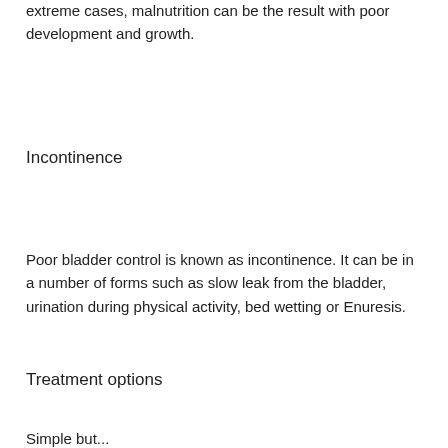extreme cases, malnutrition can be the result with poor development and growth.
Incontinence
Poor bladder control is known as incontinence. It can be in a number of forms such as slow leak from the bladder, urination during physical activity, bed wetting or Enuresis.
Treatment options
Simple but...